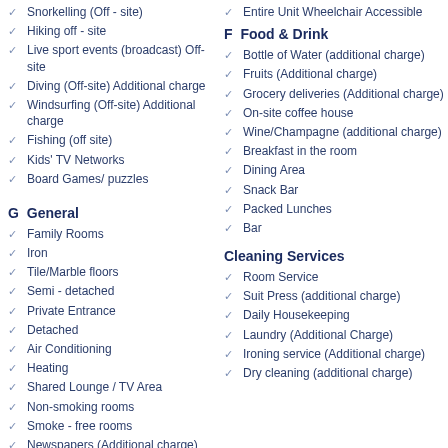Snorkelling (Off - site)
Hiking off - site
Live sport events (broadcast) Off-site
Diving (Off-site) Additional charge
Windsurfing (Off-site) Additional charge
Fishing (off site)
Kids' TV Networks
Board Games/ puzzles
G General
Family Rooms
Iron
Tile/Marble floors
Semi - detached
Private Entrance
Detached
Air Conditioning
Heating
Shared Lounge / TV Area
Non-smoking rooms
Smoke - free rooms
Newspapers (Additional charge)
Entire Unit Wheelchair Accessible
F Food & Drink
Bottle of Water (additional charge)
Fruits (Additional charge)
Grocery deliveries (Additional charge)
On-site coffee house
Wine/Champagne (additional charge)
Breakfast in the room
Dining Area
Snack Bar
Packed Lunches
Bar
Cleaning Services
Room Service
Suit Press (additional charge)
Daily Housekeeping
Laundry (Additional Charge)
Ironing service (Additional charge)
Dry cleaning (additional charge)